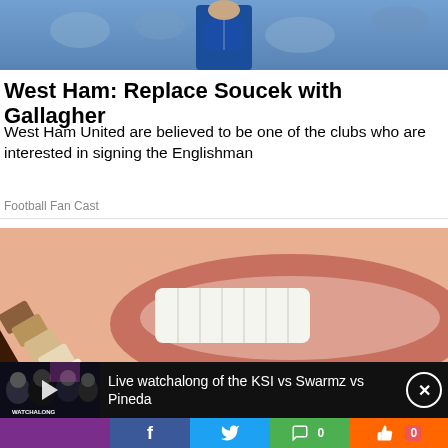[Figure (photo): Sports player in blue jersey, blurred crowd background]
West Ham: Replace Soucek with Gallagher
West Ham United are believed to be one of the clubs who are interested in signing the Englishman
Football Fan Cast
[Figure (photo): Close-up of a smile with teeth whitening shade samples being compared]
[Figure (screenshot): Video thumbnail showing KSI vs Swarmz vs Pineda watchalong with text: Live watchalong of the KSI vs Swarmz vs Pineda]
[Figure (infographic): Social media share bar with Facebook, Twitter, chat counter 0, and like counter 0 buttons]